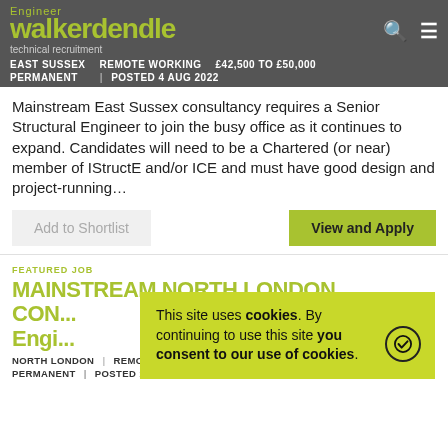Engineer walker dendle technical recruitment
EAST SUSSEX  REMOTE WORKING  £42,500 TO £50,000  PERMANENT  POSTED 4 AUG 2022
Mainstream East Sussex consultancy requires a Senior Structural Engineer to join the busy office as it continues to expand. Candidates will need to be a Chartered (or near) member of IStructE and/or ICE and must have good design and project-running...
Add to Shortlist
View and Apply
FEATURED JOB
MAINSTREAM NORTH LONDON CON... Engi...
NORTH LONDON  REMOTE WORKING  £45,000 TO £55,000  PERMANENT  POSTED 11 AUG 2022
This site uses cookies.  By continuing to use this site you consent to our use of cookies.